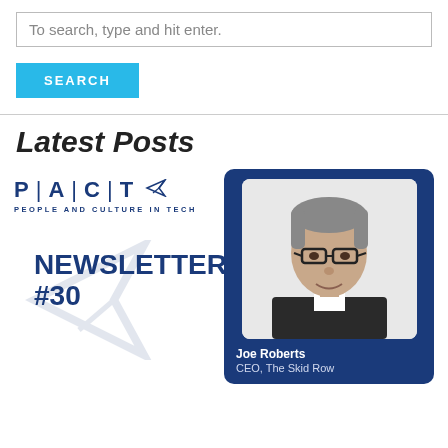To search, type and hit enter.
SEARCH
Latest Posts
[Figure (logo): PACT - People and Culture in Tech logo with paper airplane icon]
NEWSLETTER #30
[Figure (photo): Headshot of Joe Roberts, a middle-aged man with grey hair and glasses wearing a dark suit, on a blue background card]
Joe Roberts
CEO, The Skid Row